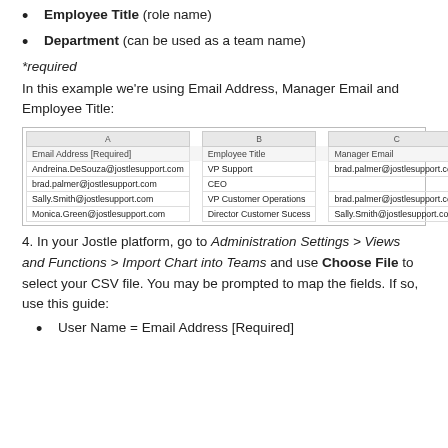Employee Title (role name)
Department (can be used as a team name)
*required
In this example we’re using Email Address, Manager Email and Employee Title:
| A |  | B |  | C |
| --- | --- | --- | --- | --- |
| Email Address [Required] |  | Employee Title |  | Manager Email |
| Andreina.DeSouza@jostlesupport.com |  | VP Support |  | brad.palmer@jostlesupport.com |
| brad.palmer@jostlesupport.com |  | CEO |  |  |
| Sally.Smith@jostlesupport.com |  | VP Customer Operations |  | brad.palmer@jostlesupport.com |
| Monica.Green@jostlesupport.com |  | Director Customer Sucess |  | Sally.Smith@jostlesupport.com |
4. In your Jostle platform, go to Administration Settings > Views and Functions > Import Chart into Teams and use Choose File to select your CSV file. You may be prompted to map the fields. If so, use this guide:
User Name = Email Address [Required]